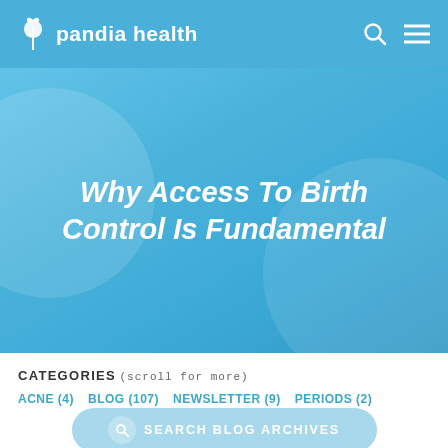pandia health
Why Access To Birth Control Is Fundamental
CATEGORIES (scroll for more)
ACNE (4)
BLOG (107)
NEWSLETTER (9)
PERIODS (2)
SEARCH BLOG ARCHIVES